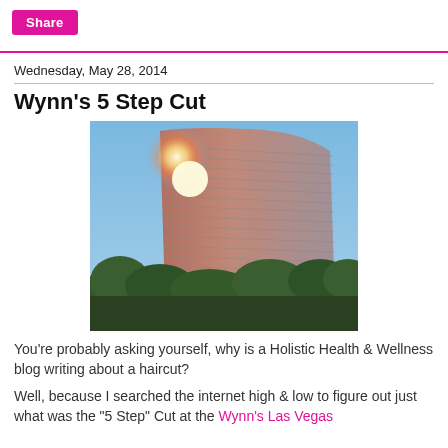Share
Wednesday, May 28, 2014
Wynn's 5 Step Cut
[Figure (photo): Photograph of the Wynn Las Vegas hotel building exterior, a curved glass tower with horizontal striping, sunlight flaring brightly from the left side, green trees in the foreground, clear blue sky background.]
You're probably asking yourself, why is a Holistic Health & Wellness blog writing about a haircut?
Well, because I searched the internet high & low to figure out just what was the "5 Step" Cut at the Wynn's Las Vegas